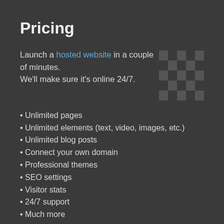Pricing
Launch a hosted website in a couple of minutes.
We'll make sure it's online 24/7.
[Figure (illustration): Checkerboard pattern image placeholder, dark grey squares in a 5x5 grid pattern]
Unlimited pages
Unlimited elements (text, video, images, etc.)
Unlimited blog posts
Connect your own domain
Professional themes
SEO settings
Visitor stats
24/7 support
Much more
Price: from $8 to $15 per month (when paid annually)